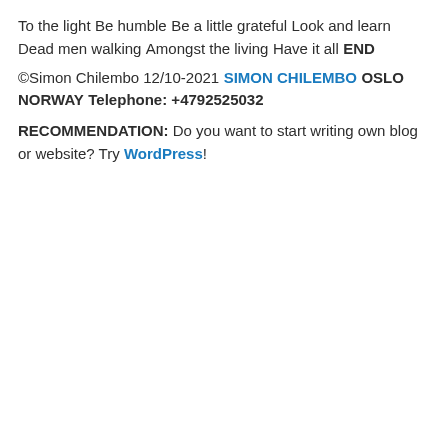To the light
Be humble
Be a little grateful
Look and learn
Dead men walking
Amongst the living
Have it all
END
©Simon Chilembo 12/10-2021
SIMON CHILEMBO
OSLO
NORWAY
Telephone: +4792525032
RECOMMENDATION: Do you want to start writing own blog or website? Try WordPress!